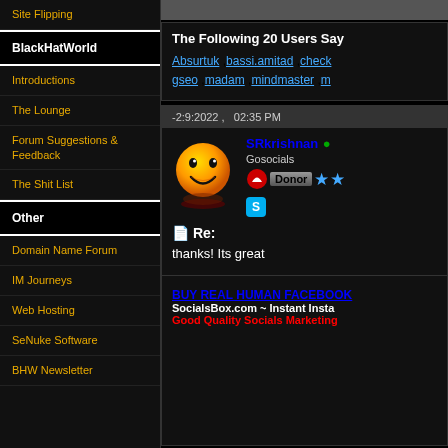Site Flipping
BlackHatWorld
Introductions
The Lounge
Forum Suggestions & Feedback
The Shit List
Other
Domain Name Forum
IM Journeys
Web Hosting
SeNuke Software
BHW Newsletter
The Following 20 Users Say
Absurtuk ,bassi.amitad ,check... gseo ,madam ,mindmaster ,m...
-2:9:2022 ,   02:35 PM
SRkrishnan • Gosocials Donor
📄 Re:
thanks! Its great
BUY REAL HUMAN FACEBOOK SocialsBox.com ~ Instant Insta... Good Quality Socials Marketing